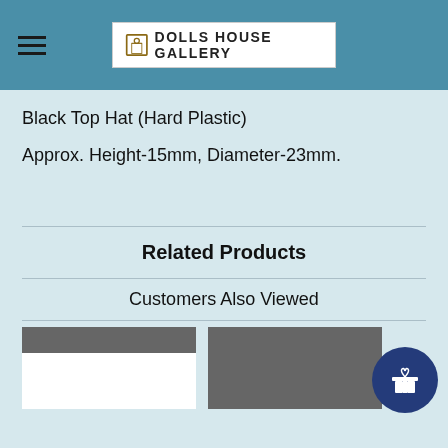DOLLS HOUSE GALLERY
Black Top Hat (Hard Plastic)
Approx. Height-15mm, Diameter-23mm.
Related Products
Customers Also Viewed
[Figure (photo): Two product thumbnail images shown side by side with dark grey background and white inner area visible on the left thumbnail]